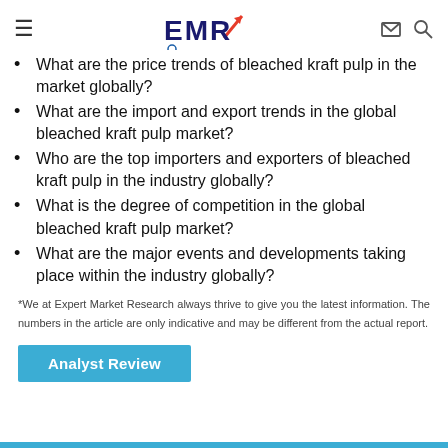EMR — Expert Market Research
What are the price trends of bleached kraft pulp in the market globally?
What are the import and export trends in the global bleached kraft pulp market?
Who are the top importers and exporters of bleached kraft pulp in the industry globally?
What is the degree of competition in the global bleached kraft pulp market?
What are the major events and developments taking place within the industry globally?
*We at Expert Market Research always thrive to give you the latest information. The numbers in the article are only indicative and may be different from the actual report.
Analyst Review